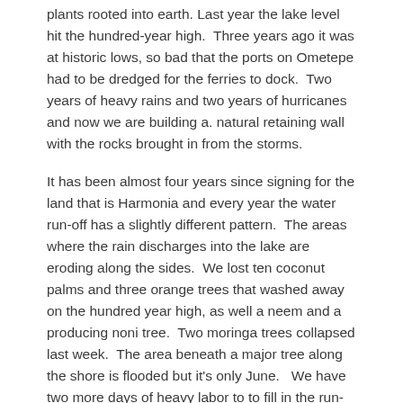plants rooted into earth. Last year the lake level hit the hundred-year high.  Three years ago it was at historic lows, so bad that the ports on Ometepe had to be dredged for the ferries to dock.  Two years of heavy rains and two years of hurricanes and now we are building a. natural retaining wall with the rocks brought in from the storms.
It has been almost four years since signing for the land that is Harmonia and every year the water run-off has a slightly different pattern.  The areas where the rain discharges into the lake are eroding along the sides.  We lost ten coconut palms and three orange trees that washed away on the hundred year high, as well a neem and a producing noni tree.  Two moringa trees collapsed last week.  The area beneath a major tree along the shore is flooded but it's only June.   We have two more days of heavy labor to to fill in the run-offs with rock that feeds into a 1-2 foot wall, discharging the water in a less erosive manner.  The best route might be chicken wire and rebar and letting the